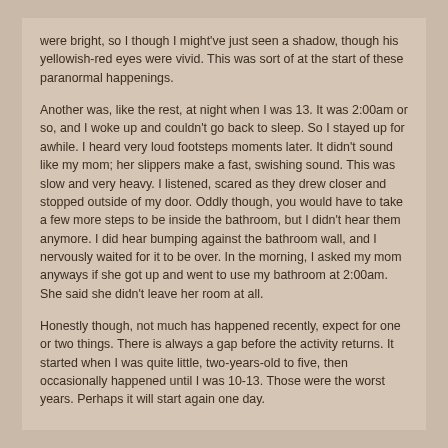were bright, so I though I might've just seen a shadow, though his yellowish-red eyes were vivid. This was sort of at the start of these paranormal happenings.
Another was, like the rest, at night when I was 13. It was 2:00am or so, and I woke up and couldn't go back to sleep. So I stayed up for awhile. I heard very loud footsteps moments later. It didn't sound like my mom; her slippers make a fast, swishing sound. This was slow and very heavy. I listened, scared as they drew closer and stopped outside of my door. Oddly though, you would have to take a few more steps to be inside the bathroom, but I didn't hear them anymore. I did hear bumping against the bathroom wall, and I nervously waited for it to be over. In the morning, I asked my mom anyways if she got up and went to use my bathroom at 2:00am. She said she didn't leave her room at all.
Honestly though, not much has happened recently, expect for one or two things. There is always a gap before the activity returns. It started when I was quite little, two-years-old to five, then occasionally happened until I was 10-13. Those were the worst years. Perhaps it will start again one day.